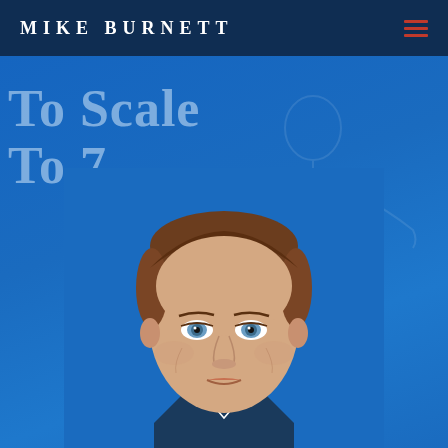MIKE BURNETT
To Scale
To 7-
[Figure (photo): Portrait photo of Mike Burnett, a man with short brown hair, light blue eyes, wearing a suit, photographed against a blue background. A ghostly outline illustration of a standing figure appears behind him in the blue hero section.]